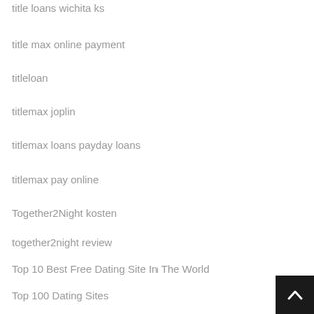title loans wichita ks
title max online payment
titleloan
titlemax joplin
titlemax loans payday loans
titlemax pay online
Together2Night kosten
together2night review
Top 10 Best Free Dating Site In The World
Top 100 Dating Sites
Top 20 Free Dating Sites
Top Online Dating Site
top pay day loan
[Figure (other): Back to top button — dark square with white upward chevron arrow]